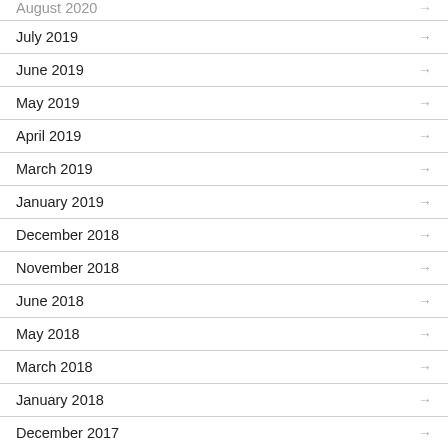August 2020 →
July 2019 →
June 2019 →
May 2019 →
April 2019 →
March 2019 →
January 2019 →
December 2018 →
November 2018 →
June 2018 →
May 2018 →
March 2018 →
January 2018 →
December 2017 →
October 2017 →